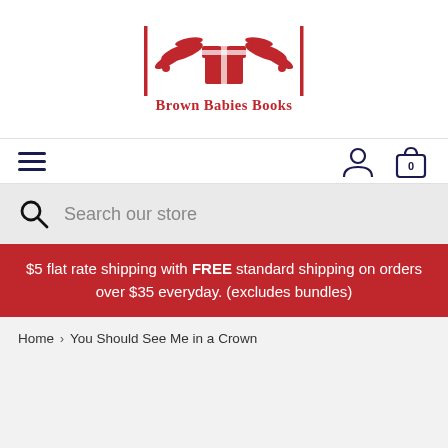[Figure (logo): Brown Babies Books logo with a red gift box and decorative wings/leaves, inside a vertical bar frame, with text 'Brown Babies Books' below the graphic]
[Figure (infographic): Navigation bar with hamburger menu icon on left and user account icon and shopping bag icon (showing 0 items) on right]
Search our store
$5 flat rate shipping with FREE standard shipping on orders over $35 everyday. (excludes bundles)
Home › You Should See Me in a Crown